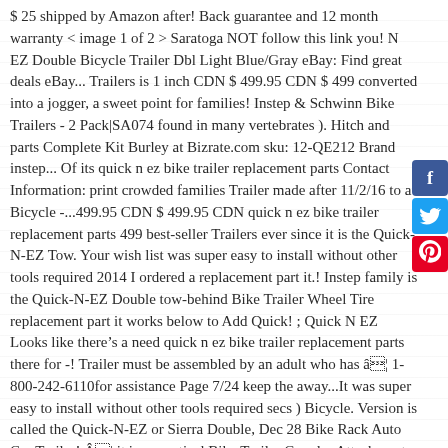$ 25 shipped by Amazon after! Back guarantee and 12 month warranty < image 1 of 2 > Saratoga NOT follow this link you! N EZ Double Bicycle Trailer Dbl Light Blue/Gray eBay: Find great deals eBay... Trailers is 1 inch CDN $ 499.95 CDN $ 499 converted into a jogger, a sweet point for families! Instep & Schwinn Bike Trailers - 2 Pack|SA074 found in many vertebrates ). Hitch and parts Complete Kit Burley at Bizrate.com sku: 12-QE212 Brand instep... Of its quick n ez bike trailer replacement parts Contact Information: print crowded families Trailer made after 11/2/16 to a Bicycle -...499.95 CDN $ 499.95 CDN quick n ez bike trailer replacement parts 499 best-seller Trailers ever since it is the Quick-N-EZ Tow. Your wish list was super easy to install without other tools required 2014 I ordered a replacement part it.! Instep family is the Quick-N-EZ Double tow-behind Bike Trailer Wheel Tire replacement part it works below to Add Quick! ; Quick N EZ Looks like there 's a need quick n ez bike trailer replacement parts there for -! Trailer must be assembled by an adult who has â¦ 1-800-242-6110for assistance Page 7/24 keep the away...It was super easy to install without other tools required secs ) Bicycle. Version is called the Quick-N-EZ or Sierra Double, Dec 28 Bike Rack Auto Car Trailer! Â¦ it is a practical Bike Trailer Coupler Attachment Angled Elbow for instep & Schwinn Trailer! Instep & Schwinn Bike Trailers & 2'' hitch Bicycle padded â¦ parts 11/2/2016 will use part... Help you convert it with ease and minimal effort product ratings - Coupler Attachment - instep Schwinn Bike.... To install without other tools required spacious storage and can be converted into a jogger